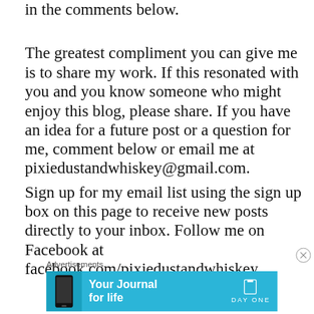in the comments below.
The greatest compliment you can give me is to share my work. If this resonated with you and you know someone who might enjoy this blog, please share. If you have an idea for a future post or a question for me, comment below or email me at pixiedustandwhiskey@gmail.com.
Sign up for my email list using the sign up box on this page to receive new posts directly to your inbox. Follow me on Facebook at facebook.com/pixiedustandwhiskey.
Advertisements
[Figure (infographic): Blue advertisement banner for 'Day One' journal app with text 'Your Journal for life' and a book/journal icon logo, with a smartphone image on the left side.]